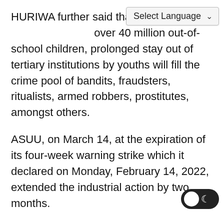HURIWA further said that f... over 40 million out-of-school children, prolonged stay out of tertiary institutions by youths will fill the crime pool of bandits, fraudsters, ritualists, armed robbers, prostitutes, amongst others.
ASUU, on March 14, at the expiration of its four-week warning strike which it declared on Monday, February 14, 2022, extended the industrial action by two months.
The union led by Professor Emmanuel Osodeke said it made the decision to extend the strike so as to give the Federal Government and its agencies enough time to meet the lingering demands of the union.